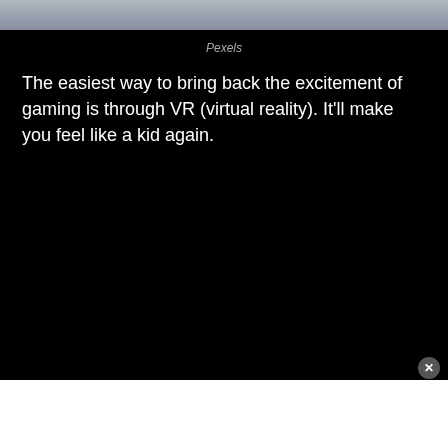[Figure (photo): Partial image visible at top of page, showing a gray/blurred photographic image]
Pexels
The easiest way to bring back the excitement of gaming is through VR (virtual reality). It'll make you feel like a kid again.